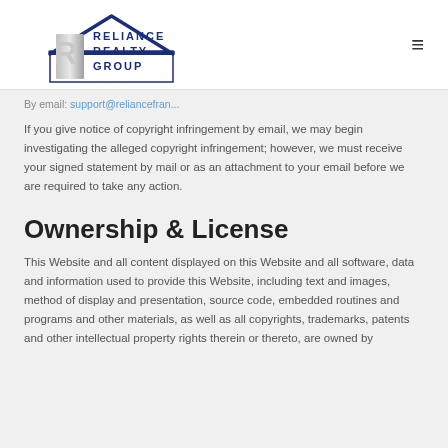Reliance Realty Group
By email: support@reliancefran...
If you give notice of copyright infringement by email, we may begin investigating the alleged copyright infringement; however, we must receive your signed statement by mail or as an attachment to your email before we are required to take any action.
Ownership & License
This Website and all content displayed on this Website and all software, data and information used to provide this Website, including text and images, method of display and presentation, source code, embedded routines and programs and other materials, as well as all copyrights, trademarks, patents and other intellectual property rights therein or thereto, are owned by